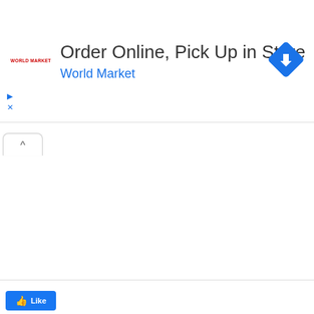[Figure (screenshot): Advertisement banner for World Market: 'Order Online, Pick Up in Store' with World Market logo on left and blue diamond turn arrow icon on right]
[Figure (screenshot): Browser UI element: a tab with an up-arrow (caret) indicating a collapsed or active panel]
[Figure (screenshot): Facebook Like button at the bottom of the page]